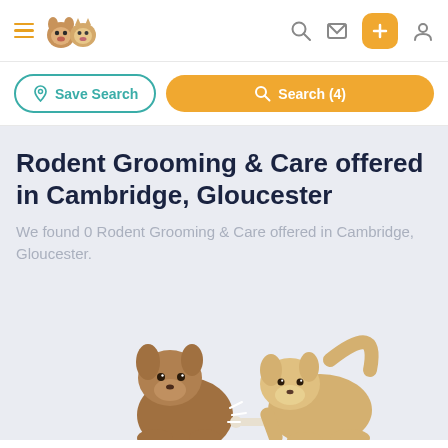Navigation bar with hamburger menu, pet logo, search icon, message icon, add button, and profile icon
Save Search | Search (4)
Rodent Grooming & Care offered in Cambridge, Gloucester
We found 0 Rodent Grooming & Care offered in Cambridge, Gloucester.
[Figure (illustration): Cartoon illustration of two dogs playing or sitting, one brown and one tan/cream colored, at the bottom of the page on a light blue-grey background]